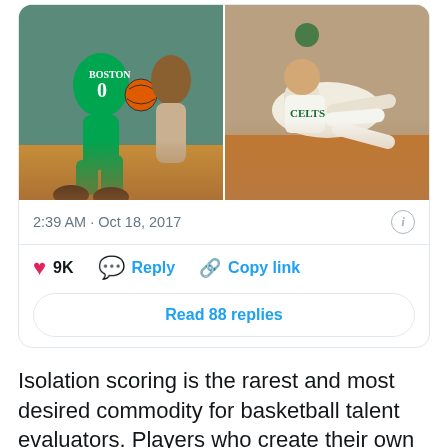[Figure (photo): Two side-by-side basketball photos: left shows a Boston Celtics player in green #0 jersey dribbling, right shows an old-school Celtics player on the floor]
2:39 AM · Oct 18, 2017
9K  Reply  Copy link
Read 88 replies
Isolation scoring is the rarest and most desired commodity for basketball talent evaluators. Players who create their own looks at the end of shot clocks are always valuable, and Tatum was one of the most polished one-on-one scorers in college basketball